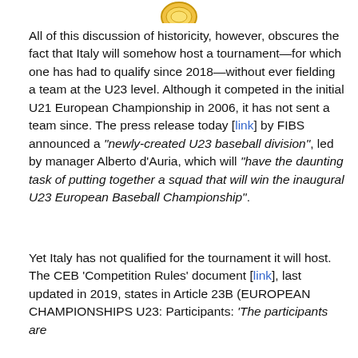[Figure (logo): Partial logo visible at top of page (gold/yellow circular emblem)]
All of this discussion of historicity, however, obscures the fact that Italy will somehow host a tournament—for which one has had to qualify since 2018—without ever fielding a team at the U23 level. Although it competed in the initial U21 European Championship in 2006, it has not sent a team since. The press release today [link] by FIBS announced a “newly-created U23 baseball division”, led by manager Alberto d’Auria, which will “have the daunting task of putting together a squad that will win the inaugural U23 European Baseball Championship”.
Yet Italy has not qualified for the tournament it will host. The CEB ‘Competition Rules’ document [link], last updated in 2019, states in Article 23B (EUROPEAN CHAMPIONSHIPS U23: Participants: ‘The participants are